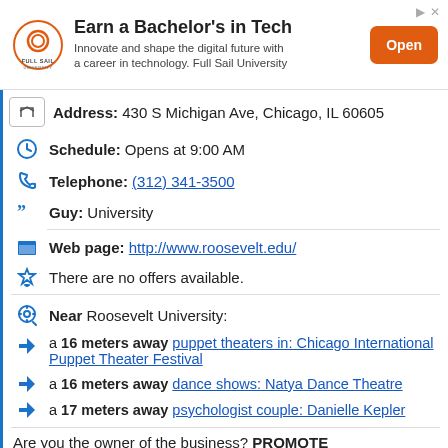[Figure (other): Full Sail University advertisement banner with logo, text 'Earn a Bachelor's in Tech', subtext, and Open button]
Address: 430 S Michigan Ave, Chicago, IL 60605
Schedule: Opens at 9:00 AM
Telephone: (312) 341-3500
Guy: University
Web page: http://www.roosevelt.edu/
There are no offers available.
Near Roosevelt University:
a 16 meters away puppet theaters in: Chicago International Puppet Theater Festival
a 16 meters away dance shows: Natya Dance Theatre
a 17 meters away psychologist couple: Danielle Kepler
Are you the owner of the business? PROMOTE